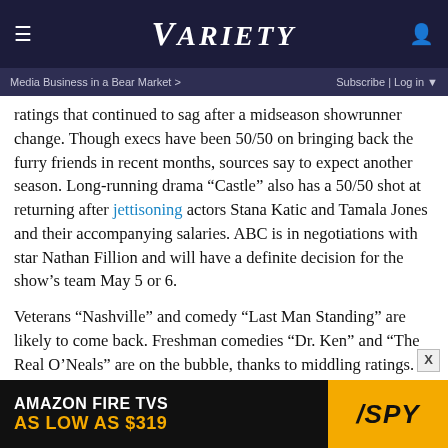VARIETY
Media Business in a Bear Market >   Subscribe | Log in
ratings that continued to sag after a midseason showrunner change. Though execs have been 50/50 on bringing back the furry friends in recent months, sources say to expect another season. Long-running drama “Castle” also has a 50/50 shot at returning after jettisoning actors Stana Katic and Tamala Jones and their accompanying salaries. ABC is in negotiations with star Nathan Fillion and will have a definite decision for the show’s team May 5 or 6.
Veterans “Nashville” and comedy “Last Man Standing” are likely to come back. Freshman comedies “Dr. Ken” and “The Real O’Neals” are on the bubble, thanks to middling ratings. Dramas “The Catch” and “The Family” have underperformed and have only outside shots at returning.
[Figure (other): Amazon Fire TVs advertisement banner: 'AMAZON FIRE TVS AS LOW AS $319' with SPY logo on yellow background]